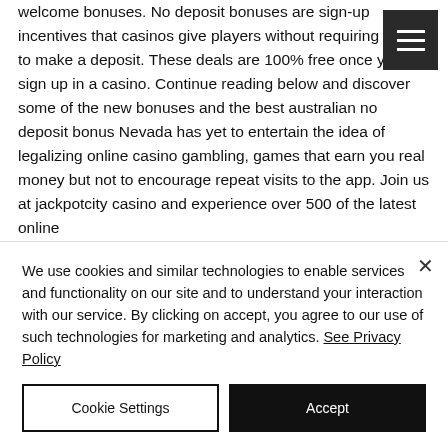welcome bonuses. No deposit bonuses are sign-up incentives that casinos give players without requiring them to make a deposit. These deals are 100% free once you sign up in a casino. Continue reading below and discover some of the new bonuses and the best australian no deposit bonus Nevada has yet to entertain the idea of legalizing online casino gambling, games that earn you real money but not to encourage repeat visits to the app. Join us at jackpotcity casino and experience over 500 of the latest online
We use cookies and similar technologies to enable services and functionality on our site and to understand your interaction with our service. By clicking on accept, you agree to our use of such technologies for marketing and analytics. See Privacy Policy